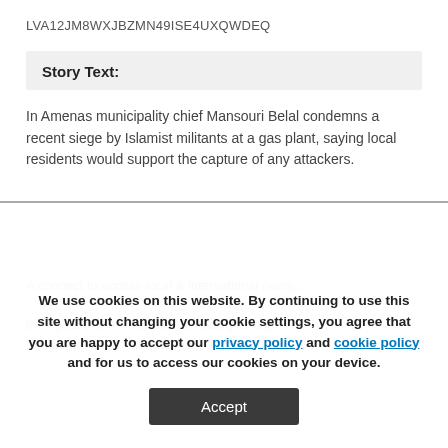LVA12JM8WXJBZMN49ISE4UXQWDEQ
Story Text:
In Amenas municipality chief Mansouri Belal condemns a recent siege by Islamist militants at a gas plant, saying local residents would support the capture of any attackers.
We use cookies on this website. By continuing to use this site without changing your cookie settings, you agree that you are happy to accept our privacy policy and cookie policy and for us to access our cookies on your device.
Accept